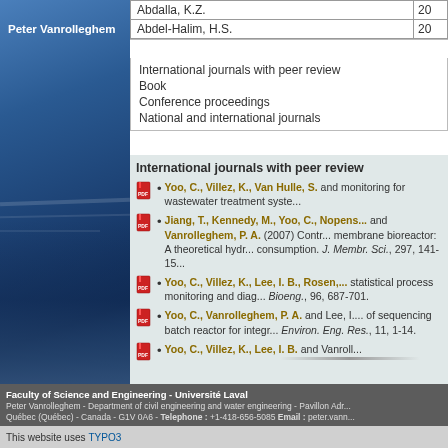[Figure (photo): Blue gradient left panel with water/sky background photo]
Peter Vanrolleghem
| Name | Year |
| --- | --- |
| Abdalla, K.Z. | 20 |
| Abdel-Halim, H.S. | 20 |
International journals with peer review
Book
Conference proceedings
National and international journals
International journals with peer review
Yoo, C., Villez, K., Van Hulle, S. and ... monitoring for wastewater treatment syste...
Jiang, T., Kennedy, M., Yoo, C., Nopens... and Vanrolleghem, P. A. (2007) Contr... membrane bioreactor: A theoretical hydr... consumption. J. Membr. Sci., 297, 141-15...
Yoo, C., Villez, K., Lee, I. B., Rosen,... statistical process monitoring and diag... Bioeng., 96, 687-701.
Yoo, C., Vanrolleghem, P. A. and Lee, I.... of sequencing batch reactor for integr... Environ. Eng. Res., 11, 1-14.
Yoo, C., Villez, K., Lee, I. B. and Vanroll...
Faculty of Science and Engineering - Université Laval
Peter Vanrolleghem - Department of civil engineering and water engineering - Pavillon Adr...
Québec (Québec) - Canada - G1V 0A6 - Telephone : +1-418-656-5085 Email : peter.vann...
This website uses TYPO3